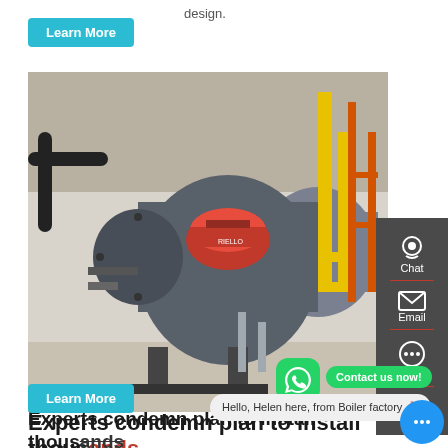design.
[Figure (photo): Industrial gas boilers in a factory setting — large cylindrical grey boilers with red burner heads and yellow piping]
Experts condemn plan to install thousands of gas boilers
Sep 14, 2021 · The government's "pre... document, is for 20,000 new gas boilers to be installed in homes that currently lack central heating.
[Figure (photo): Partial view of industrial boiler equipment at bottom of page]
Hello, Helen here, from Boiler factory 🔥